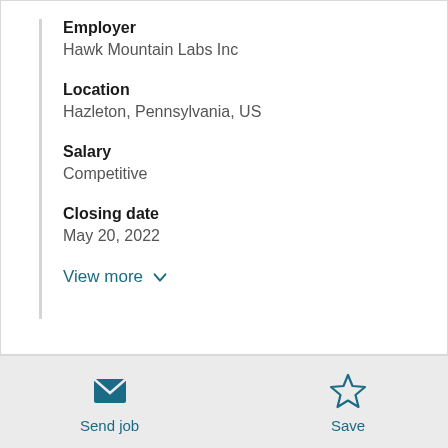Employer
Hawk Mountain Labs Inc
Location
Hazleton, Pennsylvania, US
Salary
Competitive
Closing date
May 20, 2022
View more
Send job
Save